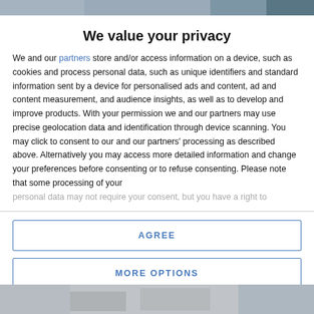[Figure (photo): Top blurred image strip of a news website background]
We value your privacy
We and our partners store and/or access information on a device, such as cookies and process personal data, such as unique identifiers and standard information sent by a device for personalised ads and content, ad and content measurement, and audience insights, as well as to develop and improve products. With your permission we and our partners may use precise geolocation data and identification through device scanning. You may click to consent to our and our partners' processing as described above. Alternatively you may access more detailed information and change your preferences before consenting or to refuse consenting. Please note that some processing of your personal data may not require your consent, but you have a right to
AGREE
MORE OPTIONS
[Figure (photo): Bottom blurred image strip of a news website background]